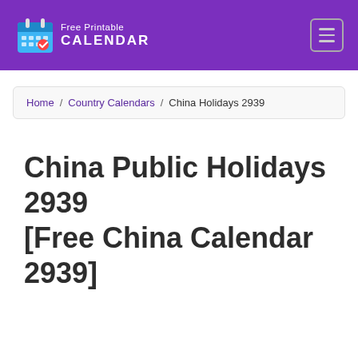Free Printable CALENDAR
Home / Country Calendars / China Holidays 2939
China Public Holidays 2939 [Free China Calendar 2939]